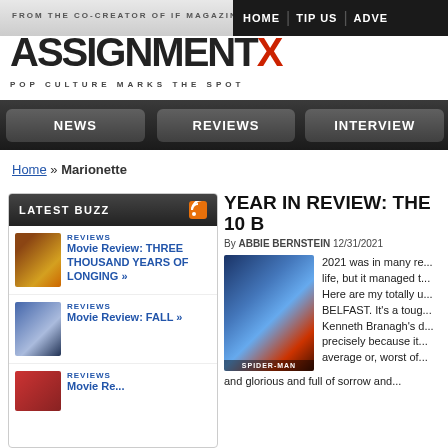FROM THE CO-CREATOR OF IF MAGAZINE
HOME | TIP US | ADVE
ASSIGNMENTX
POP CULTURE MARKS THE SPOT
NEWS | REVIEWS | INTERVIEW
Home » Marionette
LATEST BUZZ
REVIEWS - Movie Review: THREE THOUSAND YEARS OF LONGING »
REVIEWS - Movie Review: FALL »
REVIEWS - Movie Review: ...
YEAR IN REVIEW: THE 10 B
By ABBIE BERNSTEIN 12/31/2021
2021 was in many re... life, but it managed t... Here are my totally u... BELFAST. It's a toug... Kenneth Branagh's d... precisely because it... average or, worst of... and glorious and full of sorrow and...